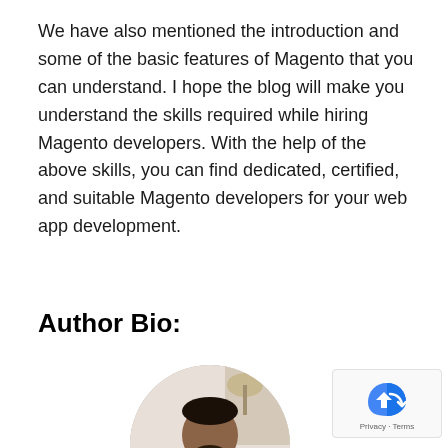We have also mentioned the introduction and some of the basic features of Magento that you can understand. I hope the blog will make you understand the skills required while hiring Magento developers. With the help of the above skills, you can find dedicated, certified, and suitable Magento developers for your web app development.
Author Bio:
[Figure (photo): Circular cropped photo of a man in a dark suit and blue shirt, standing indoors]
[Figure (logo): Google reCAPTCHA badge with privacy and terms links]